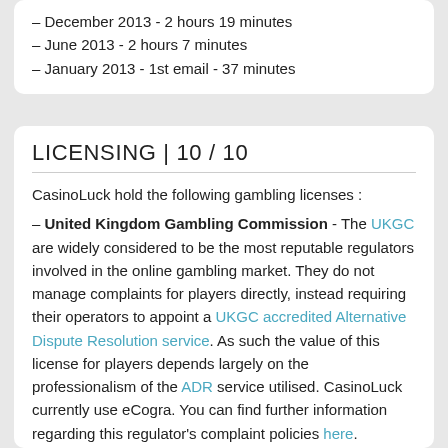– December 2013 - 2 hours 19 minutes
– June 2013 - 2 hours 7 minutes
– January 2013 - 1st email - 37 minutes
LICENSING | 10 / 10
CasinoLuck hold the following gambling licenses :
– United Kingdom Gambling Commission - The UKGC are widely considered to be the most reputable regulators involved in the online gambling market. They do not manage complaints for players directly, instead requiring their operators to appoint a UKGC accredited Alternative Dispute Resolution service. As such the value of this license for players depends largely on the professionalism of the ADR service utilised. CasinoLuck currently use eCogra. You can find further information regarding this regulator's complaint policies here.
– Malta Gaming Authority - In our experience the MGA is the best regulatory authority in terms of the management of player complaints. Their complaints team is open and cooperative in the discussion of player issues and we've managed to resolve a number of credible player issues working with the MGA.